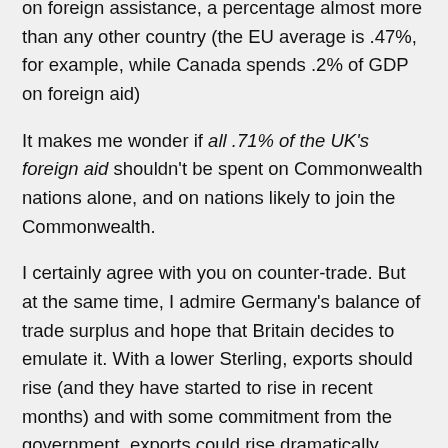on foreign assistance, a percentage almost more than any other country (the EU average is .47%, for example, while Canada spends .2% of GDP on foreign aid)
It makes me wonder if all .71% of the UK's foreign aid shouldn't be spent on Commonwealth nations alone, and on nations likely to join the Commonwealth.
I certainly agree with you on counter-trade. But at the same time, I admire Germany's balance of trade surplus and hope that Britain decides to emulate it. With a lower Sterling, exports should rise (and they have started to rise in recent months) and with some commitment from the government, exports could rise dramatically. Those are